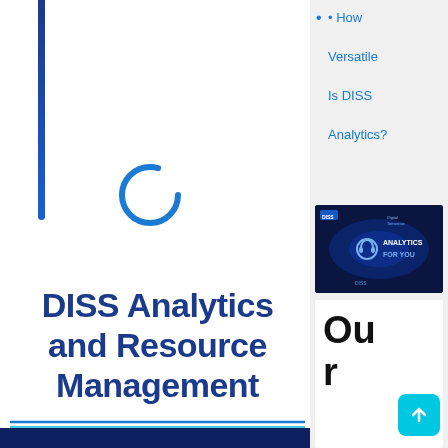[Figure (illustration): Blue vertical bar/stripe on left side of main column]
[Figure (illustration): Blue circular spinner/loading ring icon in center of main column]
DISS Analytics and Resource Management
How Versatile Is DISS Analytics?
[Figure (illustration): Dark blue promotional banner image with text ANALYTICS FOR YOU and DISS Analytics / Digital Tomorrow logos]
Ou r